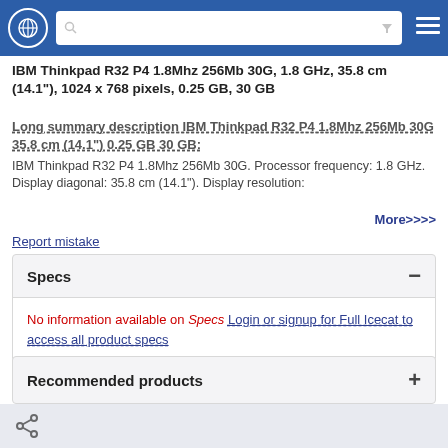Navigation bar with globe icon, search bar, filter icon, and menu icon
IBM Thinkpad R32 P4 1.8Mhz 256Mb 30G, 1.8 GHz, 35.8 cm (14.1"), 1024 x 768 pixels, 0.25 GB, 30 GB
Long summary description IBM Thinkpad R32 P4 1.8Mhz 256Mb 30G 35.8 cm (14.1") 0.25 GB 30 GB:
IBM Thinkpad R32 P4 1.8Mhz 256Mb 30G. Processor frequency: 1.8 GHz. Display diagonal: 35.8 cm (14.1"). Display resolution:
More>>>>
Report mistake
Specs
No information available on Specs Login or signup for Full Icecat to access all product specs
Recommended products
Share